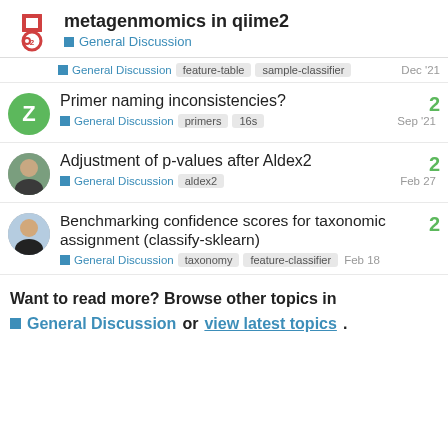metagenmomics in qiime2 — General Discussion
General Discussion | feature-table | sample-classifier | Dec '21
Primer naming inconsistencies? | General Discussion | primers | 16s | Sep '21 | 2 replies
Adjustment of p-values after Aldex2 | General Discussion | aldex2 | Feb 27 | 2 replies
Benchmarking confidence scores for taxonomic assignment (classify-sklearn) | General Discussion | taxonomy | feature-classifier | Feb 18 | 2 replies
Want to read more? Browse other topics in General Discussion or view latest topics.